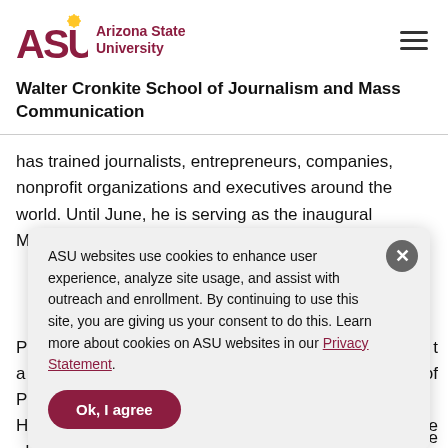ASU Arizona State University
Walter Cronkite School of Journalism and Mass Communication
has trained journalists, entrepreneurs, companies, nonprofit organizations and executives around the world. Until June, he is serving as the inaugural Marshall R. Loeb Visiting [Professor] ... of [P...] ... [he] ... [V...] he [h...] e[...] n[...] e global crisis.
ASU websites use cookies to enhance user experience, analyze site usage, and assist with outreach and enrollment. By continuing to use this site, you are giving us your consent to do this. Learn more about cookies on ASU websites in our Privacy Statement.
Ok, I agree